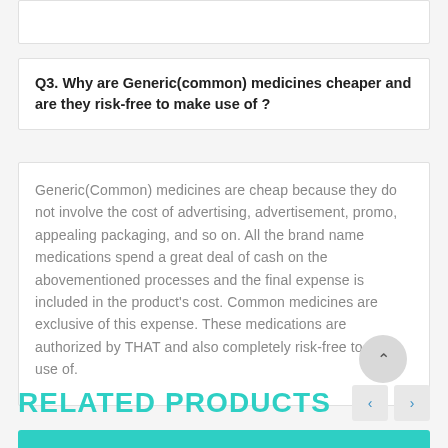Q3. Why are Generic(common) medicines cheaper and are they risk-free to make use of?
Generic(Common) medicines are cheap because they do not involve the cost of advertising, advertisement, promo, appealing packaging, and so on. All the brand name medications spend a great deal of cash on the abovementioned processes and the final expense is included in the product's cost. Common medicines are exclusive of this expense. These medications are authorized by THAT and also completely risk-free to make use of.
RELATED PRODUCTS